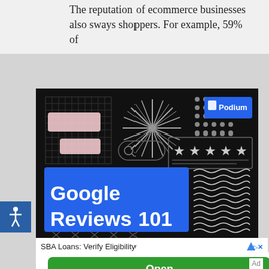The reputation of ecommerce businesses also sways shoppers. For example, 59% of
[Figure (infographic): Advertisement for Podium's 'Google Reviews 101' guide. Dark background with decorative elements: grid pattern, starburst graphic, dot grid, pink speech bubble placeholders, star rating display, search bar. Large blue rectangle with bold white text reading 'Google Reviews 101'. Wavy line pattern on right side. Podium logo (blue rectangle with shield icon) in top right corner.]
SBA Loans: Verify Eligibility
Open
Ad